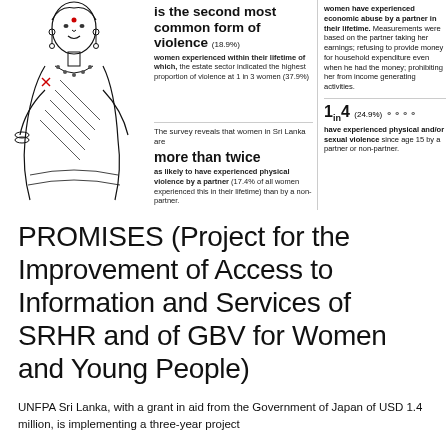[Figure (illustration): Black and white line drawing of a Sri Lankan woman wearing jewelry and traditional clothing]
is the second most common form of violence (18.9%) women experienced within their lifetime of which, the estate sector indicated the highest proportion of violence at 1 in 3 women (37.9%)
women have experienced economic abuse by a partner in their lifetime. Measurements were based on the partner taking her earnings; refusing to provide money for household expenditure even when he had the money; prohibiting her from income generating activities.
The survey reveals that women in Sri Lanka are more than twice as likely to have experienced physical violence by a partner (17.4% of all women experienced this in their lifetime) than by a non-partner.
1 in 4 (24.9%) have experienced physical and/or sexual violence since age 15 by a partner or non-partner.
PROMISES (Project for the Improvement of Access to Information and Services of SRHR and of GBV for Women and Young People)
UNFPA Sri Lanka, with a grant in aid from the Government of Japan of USD 1.4 million, is implementing a three-year project